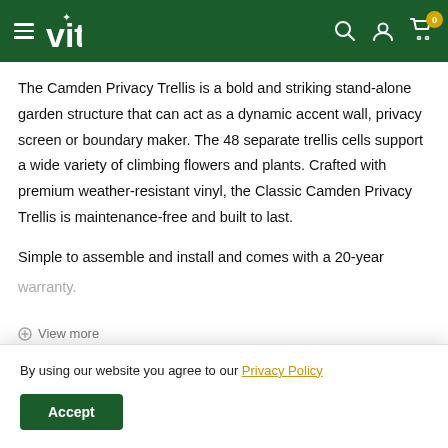vita — navigation header with hamburger menu, search, account, and cart icons
The Camden Privacy Trellis is a bold and striking stand-alone garden structure that can act as a dynamic accent wall, privacy screen or boundary maker. The 48 separate trellis cells support a wide variety of climbing flowers and plants. Crafted with premium weather-resistant vinyl, the Classic Camden Privacy Trellis is maintenance-free and built to last.
Simple to assemble and install and comes with a 20-year warranty.
View more
By using our website you agree to our Privacy Policy
Accept